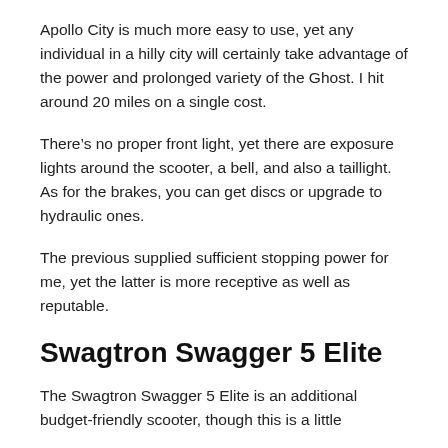Apollo City is much more easy to use, yet any individual in a hilly city will certainly take advantage of the power and prolonged variety of the Ghost. I hit around 20 miles on a single cost.
There’s no proper front light, yet there are exposure lights around the scooter, a bell, and also a taillight. As for the brakes, you can get discs or upgrade to hydraulic ones.
The previous supplied sufficient stopping power for me, yet the latter is more receptive as well as reputable.
Swagtron Swagger 5 Elite
The Swagtron Swagger 5 Elite is an additional budget-friendly scooter, though this is a little